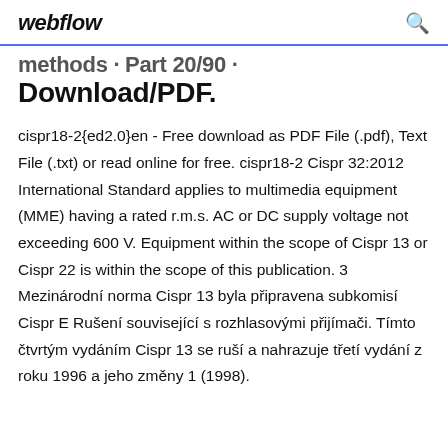webflow
methods · Part 20/90 · Download/PDF.
cispr18-2{ed2.0}en - Free download as PDF File (.pdf), Text File (.txt) or read online for free. cispr18-2 Cispr 32:2012 International Standard applies to multimedia equipment (MME) having a rated r.m.s. AC or DC supply voltage not exceeding 600 V. Equipment within the scope of Cispr 13 or Cispr 22 is within the scope of this publication. 3 Mezinárodní norma Cispr 13 byla připravena subkomisí Cispr E Rušení související s rozhlasovými přijímači. Tímto čtvrtým vydáním Cispr 13 se ruší a nahrazuje třetí vydání z roku 1996 a jeho změny 1 (1998).